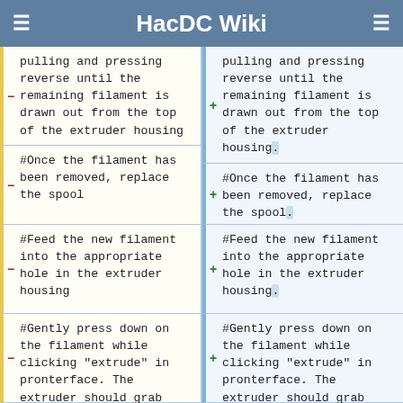HacDC Wiki
pulling and pressing reverse until the remaining filament is drawn out from the top of the extruder housing
pulling and pressing reverse until the remaining filament is drawn out from the top of the extruder housing.
#Once the filament has been removed, replace the spool
#Once the filament has been removed, replace the spool.
#Feed the new filament into the appropriate hole in the extruder housing
#Feed the new filament into the appropriate hole in the extruder housing.
#Gently press down on the filament while clicking "extrude" in pronterface. The extruder should grab the filament as you
#Gently press down on the filament while clicking "extrude" in pronterface. The extruder should grab the filament as you